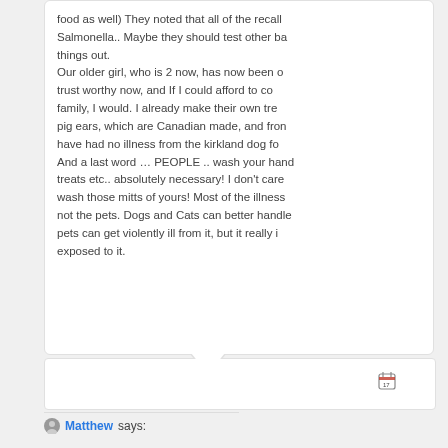food as well) They noted that all of the recall Salmonella.. Maybe they should test other ba things out. Our older girl, who is 2 now, has now been o trust worthy now, and If I could afford to co family, I would. I already make their own tre pig ears, which are Canadian made, and fron have had no illness from the kirkland dog fo And a last word … PEOPLE .. wash your hand treats etc.. absolutely necessary! I don't care wash those mitts of yours! Most of the illness not the pets. Dogs and Cats can better handl pets can get violently ill from it, but it really i exposed to it.
[Figure (other): Calendar icon small button]
Matthew says: